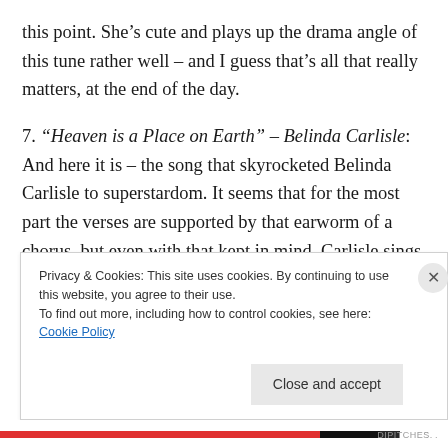this point. She’s cute and plays up the drama angle of this tune rather well – and I guess that’s all that really matters, at the end of the day.
7. “Heaven is a Place on Earth” – Belinda Carlisle: And here it is – the song that skyrocketed Belinda Carlisle to superstardom. It seems that for the most part the verses are supported by that earworm of a chorus, but even with that kept in mind, Carlisle sings the hell out of them all. The standard pop-rock production is super solid and the key change at the final chorus really sells it all. I can’t wait
Privacy & Cookies: This site uses cookies. By continuing to use this website, you agree to their use.
To find out more, including how to control cookies, see here: Cookie Policy